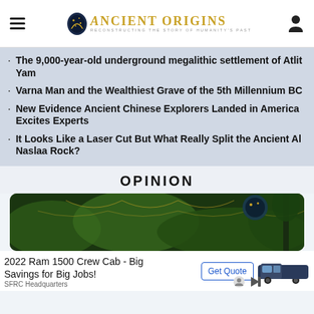Ancient Origins — Reconstructing the story of humanity's past
The 9,000-year-old underground megalithic settlement of Atlit Yam
Varna Man and the Wealthiest Grave of the 5th Millennium BC
New Evidence Ancient Chinese Explorers Landed in America Excites Experts
It Looks Like a Laser Cut But What Really Split the Ancient Al Naslaa Rock?
OPINION
[Figure (photo): Nature/landscape decorative image with green tones and gold patterns, partially covered by advertisement banner]
2022 Ram 1500 Crew Cab - Big Savings for Big Jobs! SFRC Headquarters